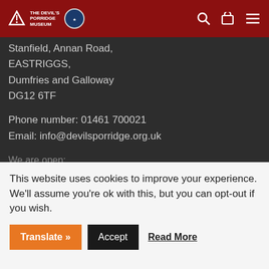The Devil's Porridge Museum
Stanfield, Annan Road,
EASTRIGGS,
Dumfries and Galloway
DG12 6TF
Phone number: 01461 700021
Email: info@devilsporridge.org.uk
We are open:
Monday – Saturday: 10 AM – 5 PM
Sunday 10 AM – 4 PM
This website uses cookies to improve your experience. We'll assume you're ok with this, but you can opt-out if you wish.